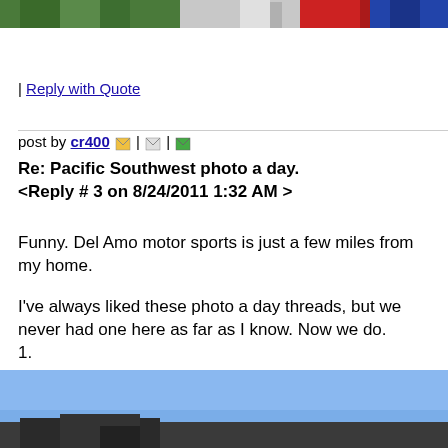[Figure (photo): Partial view of a storefront with green foliage, red column, and blue element at the top of the page]
| Reply with Quote
post by cr400 | | |
Re: Pacific Southwest photo a day.
<Reply # 3 on 8/24/2011 1:32 AM >
Funny. Del Amo motor sports is just a few miles from my home.

I've always liked these photo a day threads, but we never had one here as far as I know. Now we do.
1.
[Figure (photo): Outdoor photo showing a blue sky with a dark rooftop structure visible at the bottom]